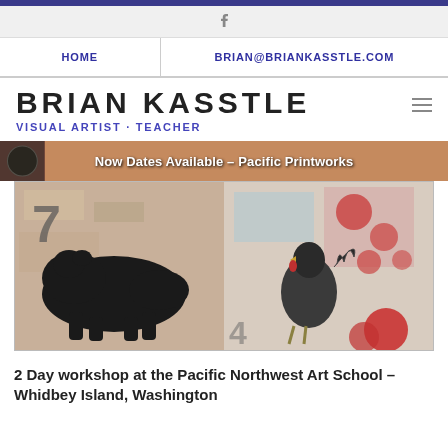f (Facebook icon)
HOME | BRIAN@BRIANKASSTLE.COM
BRIAN KASSTLE
VISUAL ARTIST · TEACHER
[Figure (illustration): Slideshow banner with overlapping text: 'Now Dates Available' and 'Pacific Printworks' and other workshop/exhibition text overlaid on colorful artwork images]
[Figure (photo): Two mixed-media artworks side by side: left shows a large black bear silhouette with the number 7 on a collaged background; right shows a detailed rooster/cockerel drawing on a mixed-media collaged background with red circular shapes]
2 Day workshop at the Pacific Northwest Art School – Whidbey Island, Washington